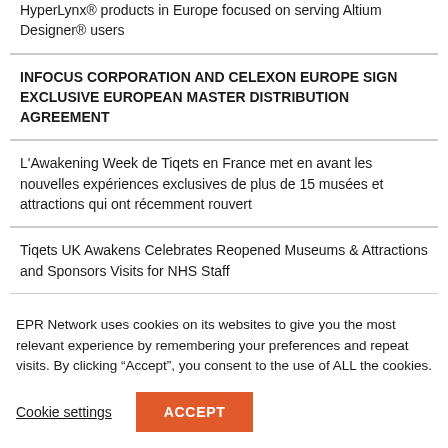HyperLynx® products in Europe focused on serving Altium Designer® users
INFOCUS CORPORATION AND CELEXON EUROPE SIGN EXCLUSIVE EUROPEAN MASTER DISTRIBUTION AGREEMENT
L'Awakening Week de Tiqets en France met en avant les nouvelles expériences exclusives de plus de 15 musées et attractions qui ont récemment rouvert
Tiqets UK Awakens Celebrates Reopened Museums & Attractions and Sponsors Visits for NHS Staff
EPR Network uses cookies on its websites to give you the most relevant experience by remembering your preferences and repeat visits. By clicking “Accept”, you consent to the use of ALL the cookies.
Cookie settings
ACCEPT